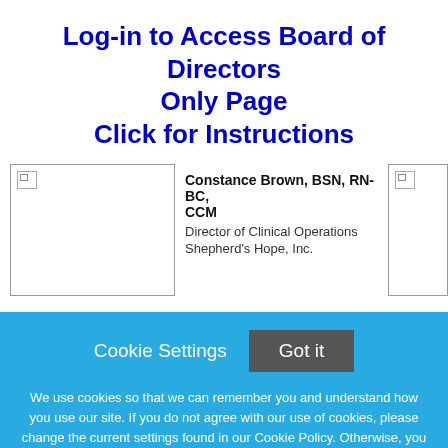Log-in to Access Board of Directors Only Page
Click for Instructions
[Figure (other): Broken image placeholder in a card on the left side]
Constance Brown, BSN, RN-BC, CCM
Director of Clinical Operations
Shepherd's Hope, Inc.
[Figure (other): Broken image placeholder in a card on the right side (partially visible)]
Cookie Settings   Got it
We use cookies so that we can remember you and understand how you use our site. If you do not agree with our use of cookies, please change the current settings found in our Cookie Policy. Otherwise, you agree to the use of the cookies as they are currently set.